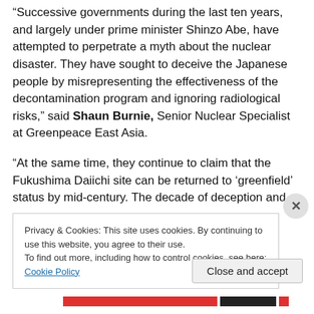“Successive governments during the last ten years, and largely under prime minister Shinzo Abe, have attempted to perpetrate a myth about the nuclear disaster. They have sought to deceive the Japanese people by misrepresenting the effectiveness of the decontamination program and ignoring radiological risks,” said Shaun Burnie, Senior Nuclear Specialist at Greenpeace East Asia.
“At the same time, they continue to claim that the Fukushima Daiichi site can be returned to ‘greenfield’ status by mid-century. The decade of deception and
Privacy & Cookies: This site uses cookies. By continuing to use this website, you agree to their use.
To find out more, including how to control cookies, see here: Cookie Policy